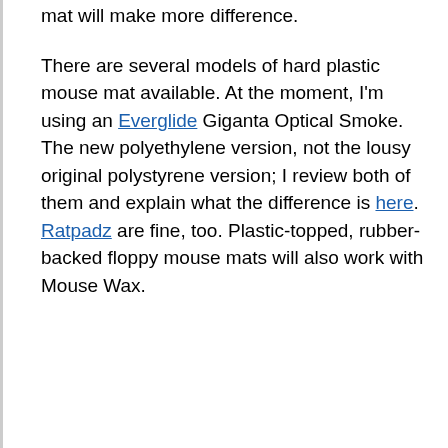mat will make more difference.
There are several models of hard plastic mouse mat available. At the moment, I'm using an Everglide Giganta Optical Smoke. The new polyethylene version, not the lousy original polystyrene version; I review both of them and explain what the difference is here. Ratpadz are fine, too. Plastic-topped, rubber-backed floppy mouse mats will also work with Mouse Wax.